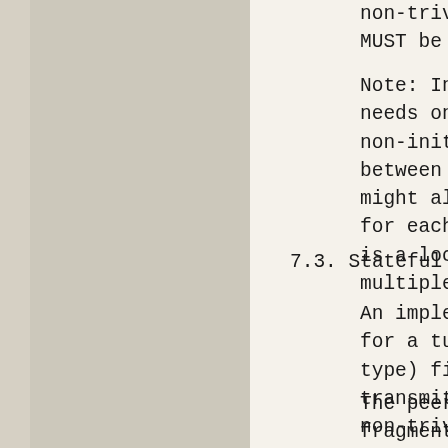non-trivial protocol selector v MUST be used.
Note: In general, for the appro needs only a single SA between non-initial fragments. However between the two implementations might also want multiple SAs to for each supported QoS class. is a local matter, not mandated multiple SAs to carry non-initi
7.3. Stateful Fragment Checking
An implementation MAY support s for a tunnel mode SA with non-t type) field values (not ANY or transmit non-initial fragments non-trivial port (or ICMP type/ a peer via the IKE NOTIFY NON_F
The peer MUST reject this propo fragments in this context. If successfully negotiate transmis an SA, it MUST NOT send such fr does not specify how peers wil